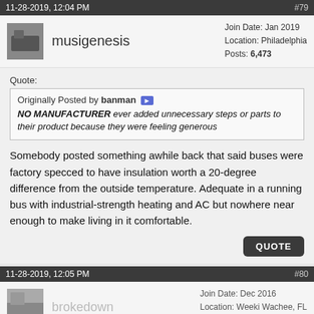11-28-2019, 12:04 PM   #79
musigenesis   Join Date: Jan 2019   Location: Philadelphia   Posts: 6,473
Quote:
Originally Posted by banman
NO MANUFACTURER ever added unnecessary steps or parts to their product because they were feeling generous
Somebody posted something awhile back that said buses were factory specced to have insulation worth a 20-degree difference from the outside temperature. Adequate in a running bus with industrial-strength heating and AC but nowhere near enough to make living in it comfortable.
QUOTE
11-28-2019, 12:05 PM   #80
brokedown   Join Date: Dec 2016   Location: Weeki Wachee, FL   Posts: 3,028